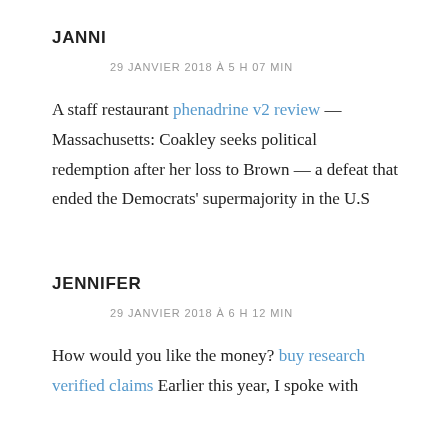JANNI
29 JANVIER 2018 À 5 H 07 MIN
A staff restaurant phenadrine v2 review — Massachusetts: Coakley seeks political redemption after her loss to Brown — a defeat that ended the Democrats' supermajority in the U.S
JENNIFER
29 JANVIER 2018 À 6 H 12 MIN
How would you like the money? buy research verified claims Earlier this year, I spoke with